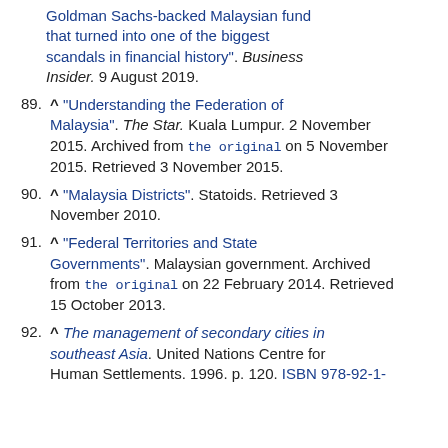Goldman Sachs-backed Malaysian fund that turned into one of the biggest scandals in financial history". Business Insider. 9 August 2019.
89. ^ "Understanding the Federation of Malaysia". The Star. Kuala Lumpur. 2 November 2015. Archived from the original on 5 November 2015. Retrieved 3 November 2015.
90. ^ "Malaysia Districts". Statoids. Retrieved 3 November 2010.
91. ^ "Federal Territories and State Governments". Malaysian government. Archived from the original on 22 February 2014. Retrieved 15 October 2013.
92. ^ The management of secondary cities in southeast Asia. United Nations Centre for Human Settlements. 1996. p. 120. ISBN 978-92-1-